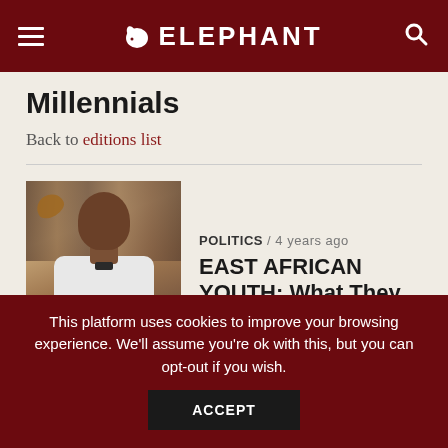ELEPHANT
Millennials
Back to editions list
[Figure (photo): Photo of a young Black man in a white shirt with a bow tie, standing in front of bookshelves, with a butterfly near his head]
POLITICS / 4 years ago
EAST AFRICAN YOUTH: What They Think
By Alex Awiti
This platform uses cookies to improve your browsing experience. We'll assume you're ok with this, but you can opt-out if you wish.
ACCEPT